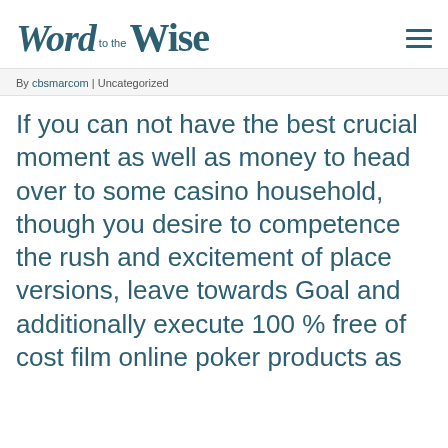Word to the Wise
By cbsmarcom | Uncategorized
If you can not have the best crucial moment as well as money to head over to some casino household, though you desire to competence the rush and excitement of place versions, leave towards Goal and additionally execute 100 % free of cost film online poker products as